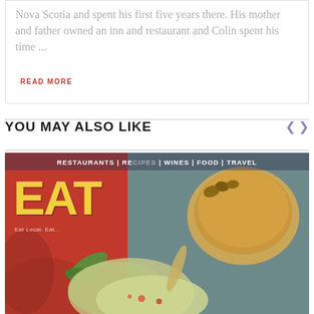Nova Scotia and spent his first five years there. His mother and father owned an inn and restaurant and Colin spent his time ...
READ MORE
YOU MAY ALSO LIKE
[Figure (photo): Magazine cover or food publication image showing 'EAT' logo in large yellow letters on a red background, with a top banner reading 'RESTAURANTS | RECIPES | WINES | FOOD | TRAVEL'. Below the logo is a tagline 'Eat Local. Eat...'. The right side shows a bowl of soup/sauce and food items on a dark background.]